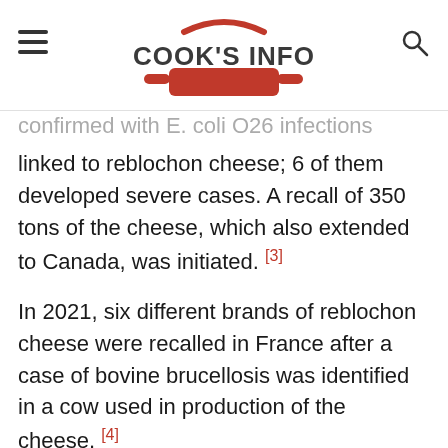COOK'S INFO
confirmed with E. coli O26 infections linked to reblochon cheese; 6 of them developed severe cases. A recall of 350 tons of the cheese, which also extended to Canada, was initiated. [3]
In 2021, six different brands of reblochon cheese were recalled in France after a case of bovine brucellosis was identified in a cow used in production of the cheese. [4]